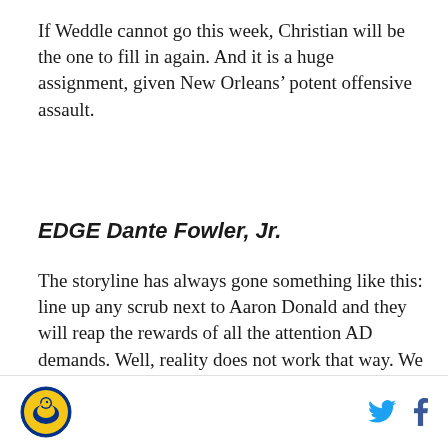If Weddle cannot go this week, Christian will be the one to fill in again. And it is a huge assignment, given New Orleans’ potent offensive assault.
EDGE Dante Fowler, Jr.
The storyline has always gone something like this: line up any scrub next to Aaron Donald and they will reap the rewards of all the attention AD demands. Well, reality does not work that way. We have seen it countless times.
In Dante’s case, and to his credit, he reaped the rewards of playing on Donald’s side last Sunday. Fowler first sack (two total) came on a stunt he pulled off with Aaron Donald. Donald ste up both defenders…